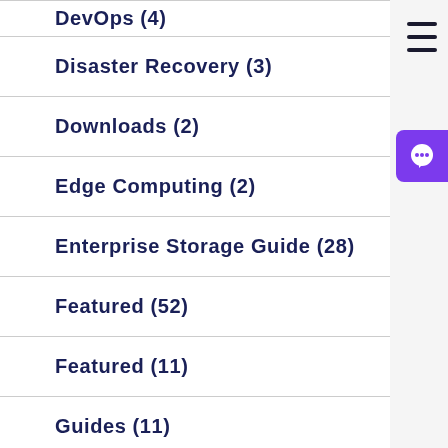DevOps (4)
Disaster Recovery (3)
Downloads (2)
Edge Computing (2)
Enterprise Storage Guide (28)
Featured (52)
Featured (11)
Guides (11)
How To (2)
Hyper-V (6)
Hypervisors (12)